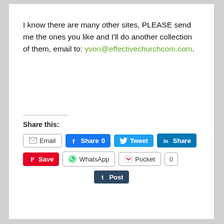I know there are many other sites, PLEASE send me the ones you like and I'll do another collection of them, email to: yvon@effectivechurchcom.com.
Share this:
[Figure (other): Social share buttons: Email, Facebook Share 0, Twitter Tweet, LinkedIn Share, Pinterest Save, WhatsApp, Pocket 0, Tumblr Post]